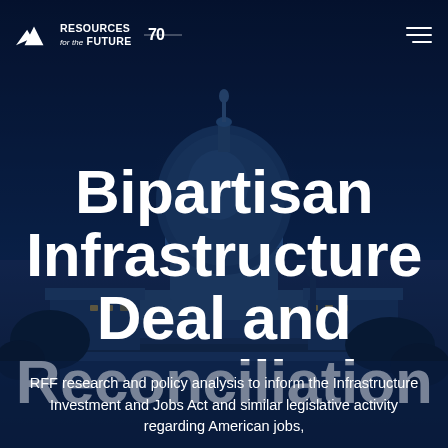[Figure (photo): Night photo of the United States Capitol building with dome illuminated, dark blue sky background]
Resources for the Future 70
Bipartisan Infrastructure Deal and Reconciliation
RFF research and policy analysis to inform the Infrastructure Investment and Jobs Act and similar legislative activity regarding American jobs,